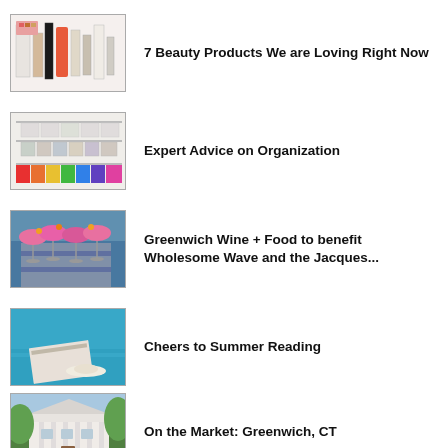[Figure (photo): Beauty products: bottles, sprays, cosmetics on white background]
7 Beauty Products We are Loving Right Now
[Figure (photo): Organized shelving unit with labeled boxes and colorful storage bins]
Expert Advice on Organization
[Figure (photo): Pink cocktail drinks in coupe glasses held by person in striped shirt]
Greenwich Wine + Food to benefit Wholesome Wave and the Jacques...
[Figure (photo): Magazine and hat on blue surface, summer reading scene]
Cheers to Summer Reading
[Figure (photo): White colonial-style house with columns and green trees]
On the Market: Greenwich, CT